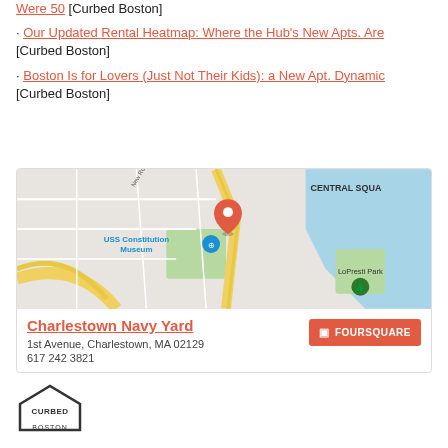Were 50 [Curbed Boston]
· Our Updated Rental Heatmap: Where the Hub's New Apts. Are [Curbed Boston]
· Boston Is for Lovers (Just Not Their Kids): a New Apt. Dynamic [Curbed Boston]
[Figure (map): Google Maps view showing Charlestown Navy Yard area in Boston, MA with a red location pin near USS Constitution Museum, LoPresti Park visible, and CENTRAL SQUARE label in upper right. Yellow roads and blue water visible.]
Charlestown Navy Yard
1st Avenue, Charlestown, MA 02129
617 242 3821
[Figure (logo): Curbed Boston logo — house-shaped outline with 'CURBED' text inside and 'BOSTON' below]